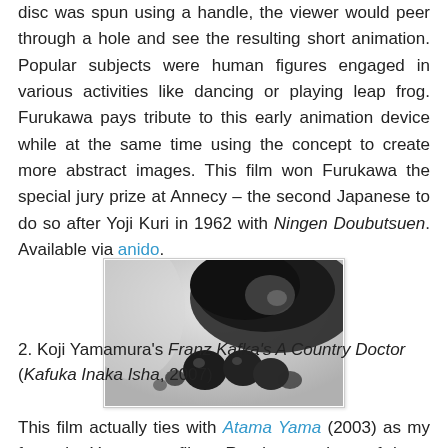disc was spun using a handle, the viewer would peer through a hole and see the resulting short animation. Popular subjects were human figures engaged in various activities like dancing or playing leap frog. Furukawa pays tribute to this early animation device while at the same time using the concept to create more abstract images. This film won Furukawa the special jury prize at Annecy – the second Japanese to do so after Yoji Kuri in 1962 with Ningen Doubutsuen. Available via anido.
[Figure (photo): Black and white photograph showing abstract organic shapes — appears to be a close-up of dark, rounded forms against a light background, possibly related to animation or biological subjects.]
2. Koji Yamamura's Franz Kafka's A Country Doctor (Kafuka Inaka Isha, 2007)
This film actually ties with Atama Yama (2003) as my favourite Yamamura films. Read my reviews of these films